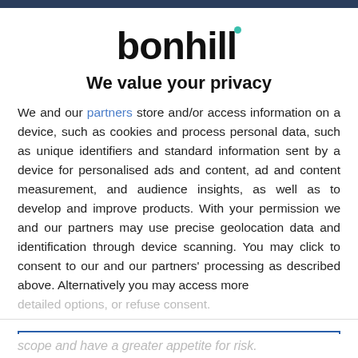[Figure (logo): Bonhill logo with teal dot above the letter 'i']
We value your privacy
We and our partners store and/or access information on a device, such as cookies and process personal data, such as unique identifiers and standard information sent by a device for personalised ads and content, ad and content measurement, and audience insights, as well as to develop and improve products. With your permission we and our partners may use precise geolocation data and identification through device scanning. You may click to consent to our and our partners' processing as described above. Alternatively you may access more
AGREE
MORE OPTIONS
scope and have a greater appetite for risk.